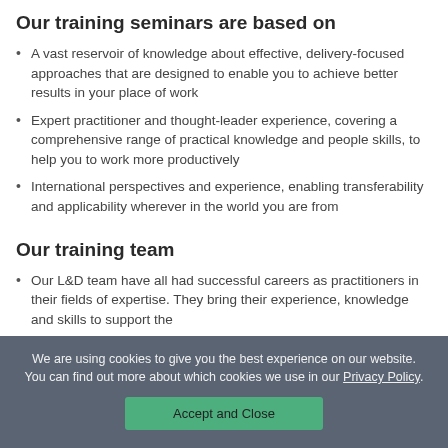Our training seminars are based on
A vast reservoir of knowledge about effective, delivery-focused approaches that are designed to enable you to achieve better results in your place of work
Expert practitioner and thought-leader experience, covering a comprehensive range of practical knowledge and people skills, to help you to work more productively
International perspectives and experience, enabling transferability and applicability wherever in the world you are from
Our training team
Our L&D team have all had successful careers as practitioners in their fields of expertise. They bring their experience, knowledge and skills to support the
We are using cookies to give you the best experience on our website. You can find out more about which cookies we use in our Privacy Policy.
Accept and Close